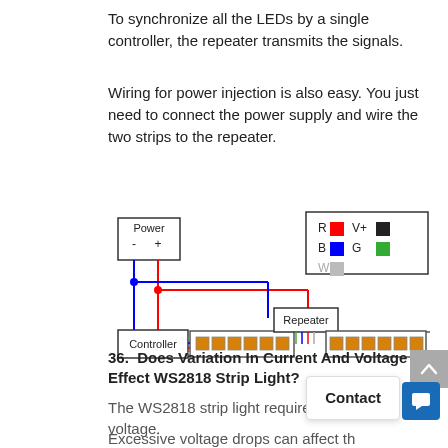To synchronize all the LEDs by a single controller, the repeater transmits the signals.
Wiring for power injection is also easy. You just need to connect the power supply and wire the two strips to the repeater.
[Figure (schematic): Wiring diagram showing a Power supply connected to a Controller, then to two LED strips with a Repeater in between. A legend shows R (red), B (blue), W (gray), V+ (black), G (green) wire colors.]
36.  Does Variation In Current And Voltage Effect WS2818 Strip Light?
The WS2818 strip light requires a constant voltage.
Excessive voltage drops can affect th